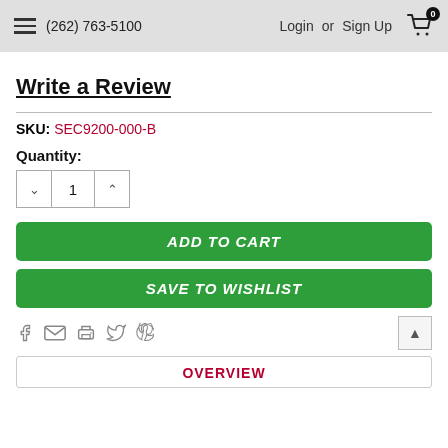(262) 763-5100  Login or Sign Up
Write a Review
SKU: SEC9200-000-B
Quantity:
1
ADD TO CART
SAVE TO WISHLIST
OVERVIEW